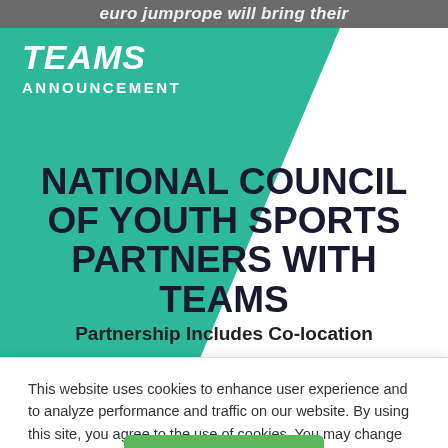[Figure (photo): Cropped top strip of an image showing partial text 'euro jumprope will bring their' in white on a dark background]
[Figure (illustration): TEAMS Announcement banner with teal triangle/chevron shape on left side containing 'TEAMS' logo in bold italic white and 'ANNOUNCEMENT' text below it]
NATIONAL COUNCIL OF YOUTH SPORTS PARTNERS WITH TEAMS
Partnership Includes Co-location
This website uses cookies to enhance user experience and to analyze performance and traffic on our website. By using this site, you agree to the use of cookies. You may change your cookie settings at any time, but the site may not function properly.  Cookie Policy
Close